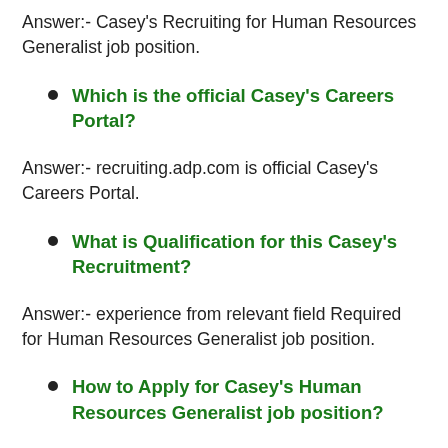Answer:- Casey's Recruiting for Human Resources Generalist job position.
Which is the official Casey's Careers Portal?
Answer:- recruiting.adp.com is official Casey's Careers Portal.
What is Qualification for this Casey's Recruitment?
Answer:- experience from relevant field Required for Human Resources Generalist job position.
How to Apply for Casey's Human Resources Generalist job position?